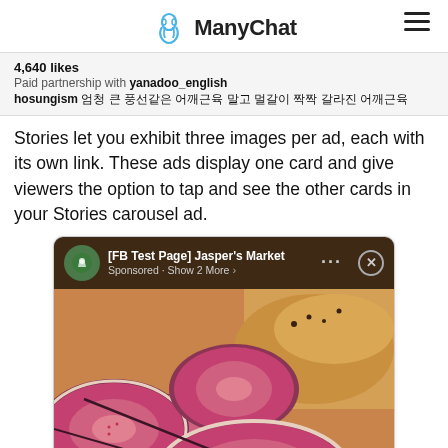ManyChat
4,640 likes
Paid partnership with yanadoo_english
hosungism 엄청 큰 풍선같은 어깨근육 말고 멀갈이 짝짝 갈라진 어깨근육
Stories let you exhibit three images per ad, each with its own link. These ads display one card and give viewers the option to tap and see the other cards in your Stories carousel ad.
[Figure (screenshot): Screenshot of a Facebook Stories carousel ad from [FB Test Page] Jasper's Market, showing Sponsored · Show 2 More > with a photo of sliced figs and a pastry/croissant.]